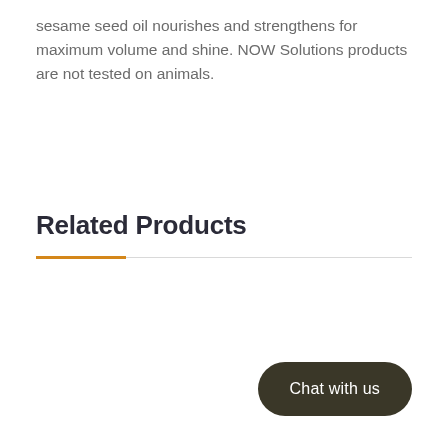sesame seed oil nourishes and strengthens for maximum volume and shine. NOW Solutions products are not tested on animals.
Related Products
Chat with us